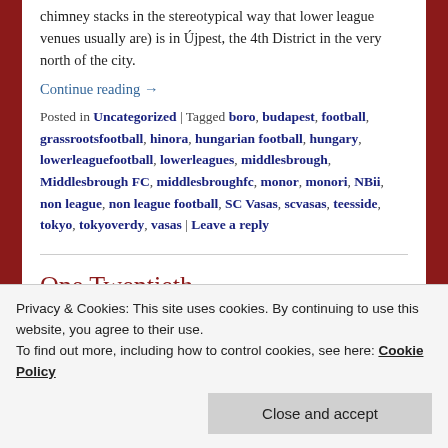chimney stacks in the stereotypical way that lower league venues usually are) is in Újpest, the 4th District in the very north of the city.
Continue reading →
Posted in Uncategorized | Tagged boro, budapest, football, grassrootsfootball, hinora, hungarian football, hungary, lowerleaguefootball, lowerleagues, middlesbrough, Middlesbrough FC, middlesbroughfc, monor, monori, NBii, non league, non league football, SC Vasas, scvasas, teesside, tokyo, tokyoverdy, vasas | Leave a reply
One Twentieth
Privacy & Cookies: This site uses cookies. By continuing to use this website, you agree to their use. To find out more, including how to control cookies, see here: Cookie Policy